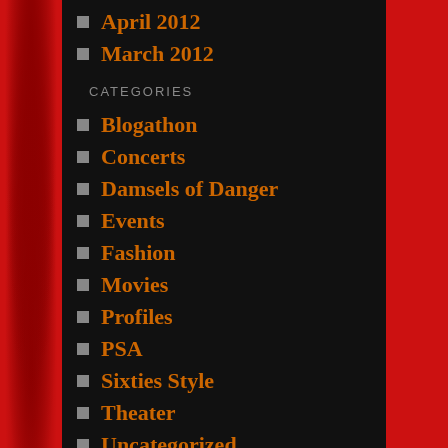April 2012
March 2012
CATEGORIES
Blogathon
Concerts
Damsels of Danger
Events
Fashion
Movies
Profiles
PSA
Sixties Style
Theater
Uncategorized
META
Register
Log in
Entries feed
Comments feed